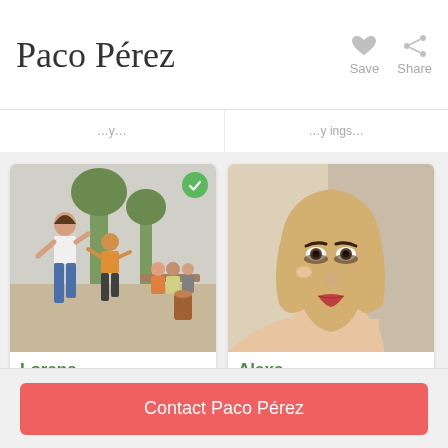Paco Pérez
[Figure (screenshot): Two profile cards: Lorena (Latin dance, outdoor group photo) and Alexa (dance classes, selfie portrait)]
Lorena
Personalized Latin da...
Dancing has always b...
Alexa
dance clases.. street d...
learn the basics of da...
Contact Paco Pérez